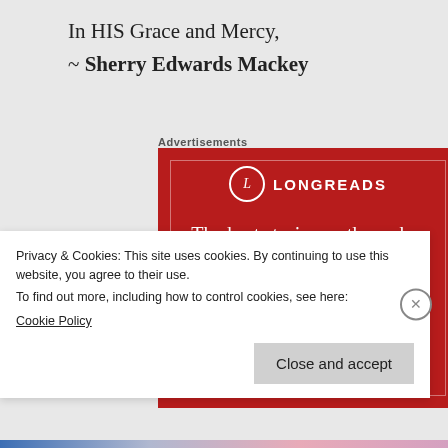In HIS Grace and Mercy,
~ Sherry Edwards Mackey
Advertisements
[Figure (illustration): Longreads advertisement on a red background. Shows the Longreads logo (circle with L), the text 'The best stories on the web – ours, and everyone else's.' and a dark 'Start reading' button.]
Privacy & Cookies: This site uses cookies. By continuing to use this website, you agree to their use.
To find out more, including how to control cookies, see here:
Cookie Policy
Close and accept